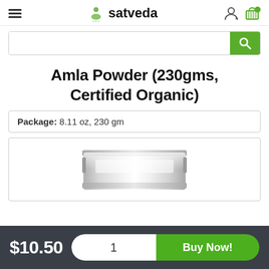satveda
Amla Powder (230gms, Certified Organic)
Package: 8.11 oz, 230 gm
[Figure (photo): Product image of a silver/grey cylindrical powder container]
$10.50  1  Buy Now!